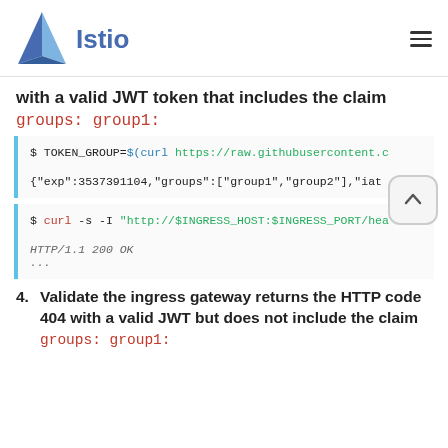Istio
with a valid JWT token that includes the claim
groups: group1:
[Figure (screenshot): Code block showing TOKEN_GROUP=$(curl https://raw.githubusercontent.com...) and JSON output {"exp":3537391104,"groups":["group1","group2"],"iat...]
[Figure (screenshot): Code block showing: $ curl -s -I "http://$INGRESS_HOST:$INGRESS_PORT/hea... followed by output HTTP/1.1 200 OK and ...]
4. Validate the ingress gateway returns the HTTP code 404 with a valid JWT but does not include the claim groups: group1: